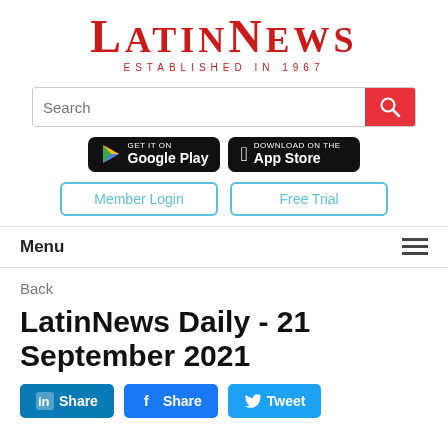LatinNews ESTABLISHED IN 1967
[Figure (screenshot): Search bar with red search button]
[Figure (screenshot): Google Play and App Store download buttons]
[Figure (screenshot): Member Login and Free Trial buttons]
[Figure (screenshot): Menu navigation bar with hamburger icon]
Back
LatinNews Daily - 21 September 2021
[Figure (screenshot): Social share buttons: LinkedIn Share, Facebook Share, Twitter Tweet]